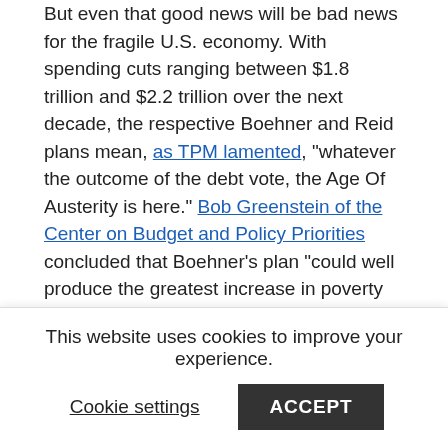But even that good news will be bad news for the fragile U.S. economy. With spending cuts ranging between $1.8 trillion and $2.2 trillion over the next decade, the respective Boehner and Reid plans mean, as TPM lamented, "whatever the outcome of the debt vote, the Age Of Austerity is here." Bob Greenstein of the Center on Budget and Policy Priorities concluded that Boehner's plan "could well produce the greatest increase in poverty and hardship produced by any law in modern U.S. history." And even with Boehner's plan, the ratings agencies might downgrade America's credit, a development the House Speaker laughably claimed was "beyond my control." Regardless, the potential economic calamity would be quite an achievement for the Republicans Paul O'Neill described as "our version of Al Qaeda terrorists." After all, not even Osama Bin Laden could do that.
This website uses cookies to improve your experience.